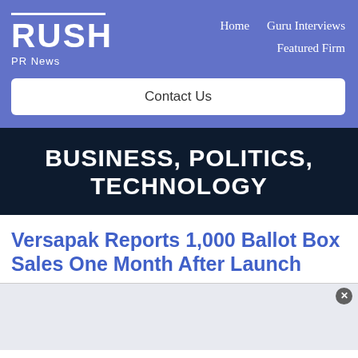RUSH PR News — Home | Guru Interviews | Featured Firm
Contact Us
BUSINESS, POLITICS, TECHNOLOGY
Versapak Reports 1,000 Ballot Box Sales One Month After Launch
[Figure (other): Gray advertisement/content placeholder area with close button (X) in top-right corner]